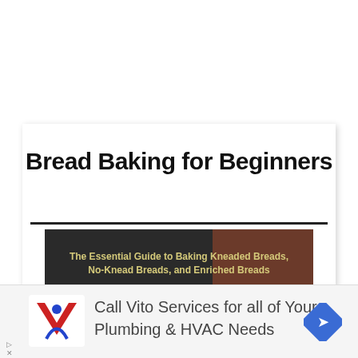Bread Baking for Beginners
[Figure (photo): Book cover showing 'The Essential Guide to Baking Kneaded Breads, No-Knead Breads, and Enriched Breads' with large white text 'Bread' on a dark background]
[Figure (infographic): Advertisement bar: Vito Services logo with 'Call Vito Services for all of Your Plumbing & HVAC Needs' text and a blue road sign icon]